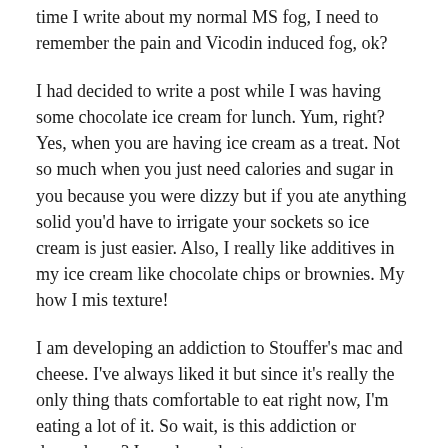time I write about my normal MS fog, I need to remember the pain and Vicodin induced fog, ok?
I had decided to write a post while I was having some chocolate ice cream for lunch. Yum, right? Yes, when you are having ice cream as a treat. Not so much when you just need calories and sugar in you because you were dizzy but if you ate anything solid you'd have to irrigate your sockets so ice cream is just easier. Also, I really like additives in my ice cream like chocolate chips or brownies. My how I mis texture!
I am developing an addiction to Stouffer's mac and cheese. I've always liked it but since it's really the only thing thats comfortable to eat right now, I'm eating a lot of it. So wait, is this addiction or dependence? I am dependent on